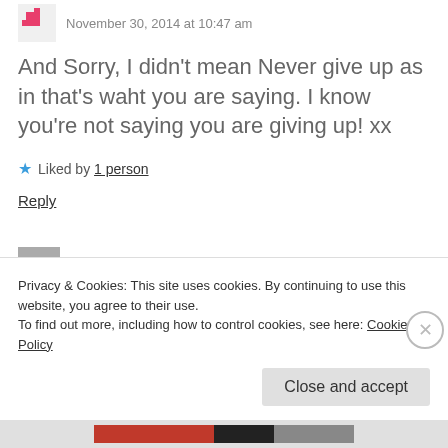November 30, 2014 at 10:47 am
And Sorry, I didn't mean Never give up as in that's waht you are saying. I know you're not saying you are giving up! xx
Liked by 1 person
Reply
Cica
Privacy & Cookies: This site uses cookies. By continuing to use this website, you agree to their use.
To find out more, including how to control cookies, see here: Cookie Policy